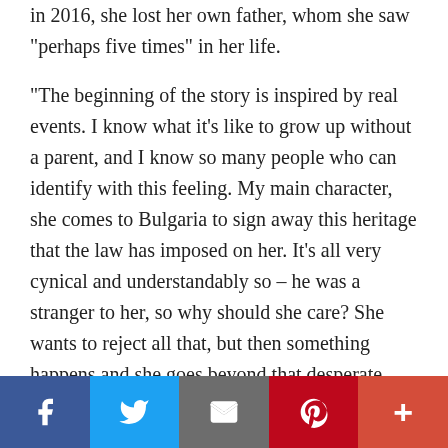in 2016, she lost her own father, whom she saw "perhaps five times" in her life.
"The beginning of the story is inspired by real events. I know what it's like to grow up without a parent, and I know so many people who can identify with this feeling. My main character, she comes to Bulgaria to sign away this heritage that the law has imposed on her. It's all very cynical and understandably so – he was a stranger to her, so why should she care? She wants to reject all that, but then something happens and she goes beyond that desperate need of being acknowledged by her father," she adds.
Social sharing bar: Facebook, Twitter, Email, Pinterest, More